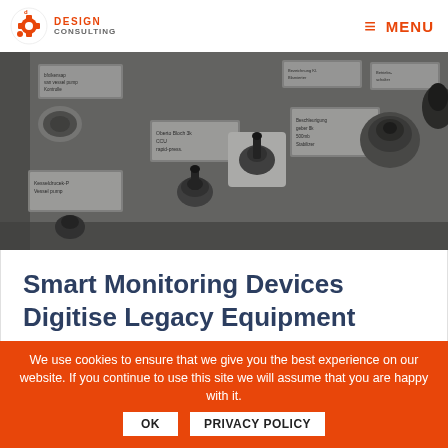Design Consulting — MENU
[Figure (photo): Close-up photograph of an industrial control panel with old switches, knobs, dials, and labeled plaques on a worn metal surface]
Smart Monitoring Devices Digitise Legacy Equipment
We use cookies to ensure that we give you the best experience on our website. If you continue to use this site we will assume that you are happy with it. OK   PRIVACY POLICY